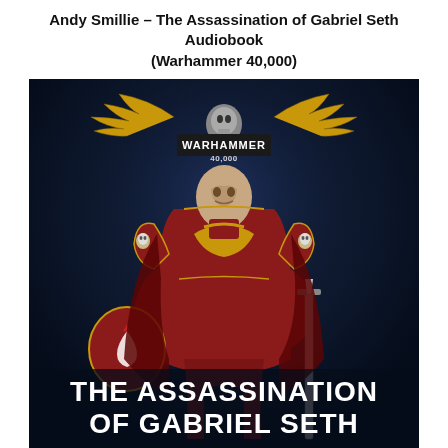Andy Smillie – The Assassination of Gabriel Seth Audiobook (Warhammer 40,000)
[Figure (illustration): Book cover art for 'The Assassination of Gabriel Seth' by Andy Smillie (Warhammer 40,000). A heavily armored Space Marine in red and gold power armor stands in a dramatic pose against a dark blue background. He holds a large sword in his right hand and bears a round shield with a blood drop emblem. Golden winged skulls adorn his armor. The Warhammer 40,000 logo appears at the top. At the bottom, bold white text reads 'THE ASSASSINATION OF GABRIEL SETH' and below that 'ANDY SMILLIE'.]